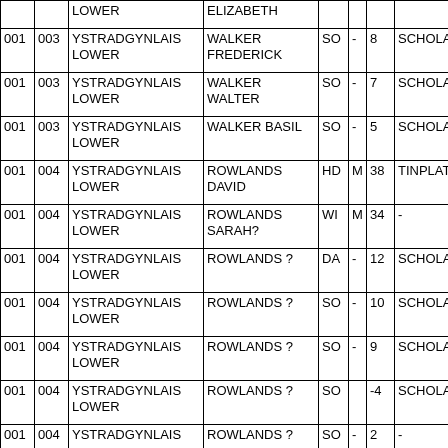|  |  | LOWER | ELIZABETH |  |  |  |  |
| 001 | 003 | YSTRADGYNLAIS LOWER | WALKER FREDERICK | SO | - | 8 | SCHOLA |
| 001 | 003 | YSTRADGYNLAIS LOWER | WALKER WALTER | SO | - | 7 | SCHOLA |
| 001 | 003 | YSTRADGYNLAIS LOWER | WALKER BASIL | SO | - | 5 | SCHOLA |
| 001 | 004 | YSTRADGYNLAIS LOWER | ROWLANDS DAVID | HD | M | 38 | TINPLAT |
| 001 | 004 | YSTRADGYNLAIS LOWER | ROWLANDS SARAH? | WI | M | 34 | - |
| 001 | 004 | YSTRADGYNLAIS LOWER | ROWLANDS ? | DA | - | 12 | SCHOLA |
| 001 | 004 | YSTRADGYNLAIS LOWER | ROWLANDS ? | SO | - | 10 | SCHOLA |
| 001 | 004 | YSTRADGYNLAIS LOWER | ROWLANDS ? | SO | - | 9 | SCHOLA |
| 001 | 004 | YSTRADGYNLAIS LOWER | ROWLANDS ? | SO |  | -4 | SCHOLA |
| 001 | 004 | YSTRADGYNLAIS | ROWLANDS ? | SO | - | 2 | - |